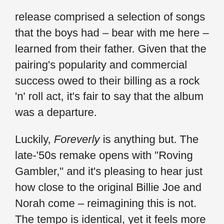release comprised a selection of songs that the boys had – bear with me here – learned from their father. Given that the pairing's popularity and commercial success owed to their billing as a rock 'n' roll act, it's fair to say that the album was a departure.
Luckily, Foreverly is anything but. The late-'50s remake opens with "Roving Gambler," and it's pleasing to hear just how close to the original Billie Joe and Norah come – reimagining this is not. The tempo is identical, yet it feels more substantial, more tangible than the airier original. The recording is sensational, with both vocalists, along with the adjoining harmonica, sounding terrific with excellent weight and resolution. While recording quality has surely come a long way in 55 years, the intimacy of this rendition makes for a more engaging record than its forebear. So, too, with "Who's Gonna Shoe Your Pretty Little Feet?" It's closely miked, and Jones's vocals add a complementary